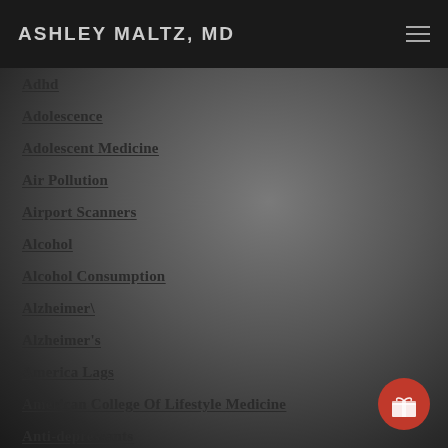ASHLEY MALTZ, MD
Adhd
Adolescence
Adolescent Medicine
Air Pollution
Airport Scanners
Alcohol
Alcohol Consumption
Alzheimer\
Alzheimer's
America Lags
American College Of Lifestyle Medicine
Anti-depressants
Anti-inflammatory Diet
Anti-inflammatory Diet
Artificial Sweeteners
Aspirin
Attention Span